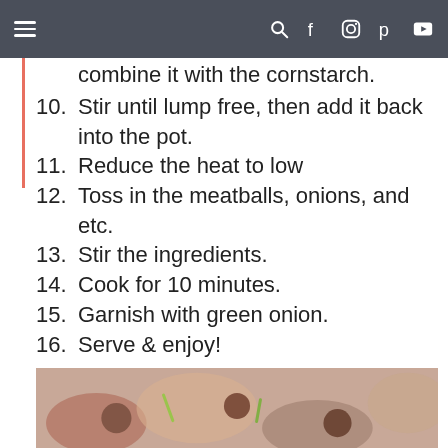Navigation bar with hamburger menu and social icons
9. (partial) …scoop out the liquid, then combine it with the cornstarch.
10. Stir until lump free, then add it back into the pot.
11. Reduce the heat to low
12. Toss in the meatballs, onions, and etc.
13. Stir the ingredients.
14. Cook for 10 minutes.
15. Garnish with green onion.
16. Serve & enjoy!
Video
[Figure (screenshot): YouTube video thumbnail for Sweet & Sour Meatballs (Easy ...) with channel avatar and dark top bar]
[Figure (photo): Bottom portion of food photo showing sweet and sour meatballs dish]